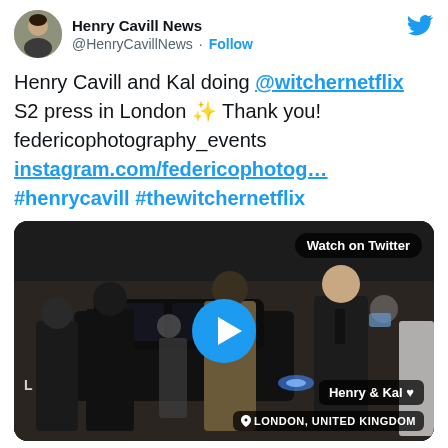Henry Cavill News @HenryCavillNews · Follow
Henry Cavill and Kal doing @witchernetflix S2 press in London ✨ Thank you! federicophotography_events instagram.com/federicophotog… #henrycavill #thewitchernetflix
[Figure (screenshot): Video thumbnail showing people in dark winter coats outside at night near a black car in London. A blue play button circle is centered on the image. A 'Watch on Twitter' label appears in the top right. A 'Henry & Kal ♥' label and 'LONDON, UNITED KINGDOM' location tag appear at the bottom right.]